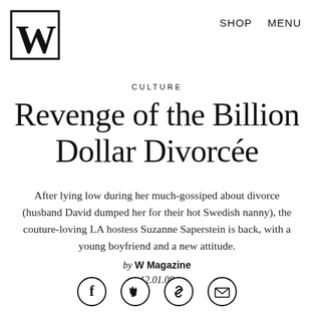[Figure (logo): W Magazine logo — bold serif W in a box]
SHOP   MENU
CULTURE
Revenge of the Billion Dollar Divorcée
After lying low during her much-gossiped about divorce (husband David dumped her for their hot Swedish nanny), the couture-loving LA hostess Suzanne Saperstein is back, with a young boyfriend and a new attitude.
by W Magazine
12.01.08
[Figure (infographic): Four social sharing icon circles: Facebook (f), Twitter (bird), Link (chain), Email (envelope)]